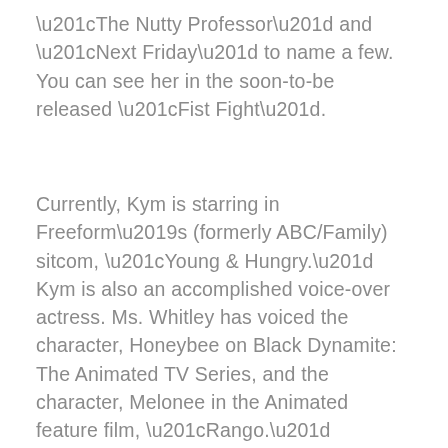“The Nutty Professor” and “Next Friday” to name a few. You can see her in the soon-to-be released “Fist Fight”.
Currently, Kym is starring in Freeform’s (formerly ABC/Family) sitcom, “Young & Hungry.” Kym is also an accomplished voice-over actress. Ms. Whitley has voiced the character, Honeybee on Black Dynamite: The Animated TV Series, and the character, Melonee in the Animated feature film, “Rango.”